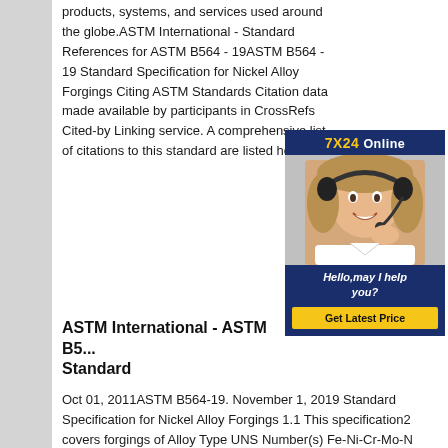products, systems, and services used around the globe.ASTM International - Standard References for ASTM B564 - 19ASTM B564 - 19 Standard Specification for Nickel Alloy Forgings Citing ASTM Standards Citation data made available by participants in CrossRefs Cited-by Linking service. A comprehensive list of citations to this standard are listed here.
[Figure (infographic): Customer service advertisement showing a woman wearing a headset with text '7X24 Online', 'Hello,may I help you?' and a 'Get Latest Price' button on a dark blue background.]
ASTM International - ASTM B5...
Standard
Oct 01, 2011ASTM B564-19. November 1, 2019 Standard Specification for Nickel Alloy Forgings 1.1 This specification2 covers forgings of Alloy Type UNS Number(s) Fe-Ni-Cr-Mo-N N08367 Low-